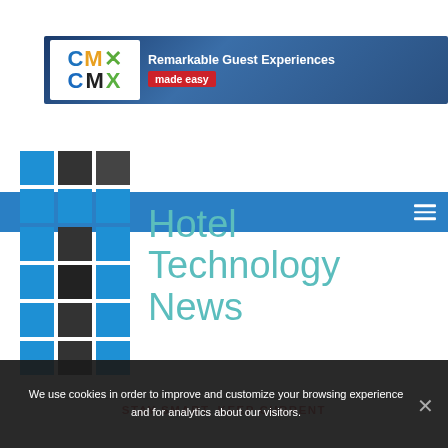[Figure (logo): CMX banner ad with logo and tagline 'Remarkable Guest Experiences made easy' on blue background]
[Figure (other): Blue navigation bar with hamburger menu icon on right]
[Figure (logo): Hotel Technology News logo with grid icon and teal text]
STAY SMART, KEEP CURRENT
We use cookies in order to improve and customize your browsing experience and for analytics about our visitors.